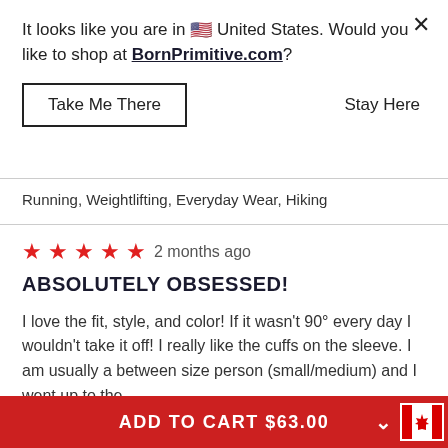It looks like you are in 🇺🇸 United States. Would you like to shop at BornPrimitive.com?
Take Me There
Stay Here
Running, Weightlifting, Everyday Wear, Hiking
★★★★★ 2 months ago
ABSOLUTELY OBSESSED!
I love the fit, style, and color! If it wasn't 90° every day I wouldn't take it off! I really like the cuffs on the sleeve. I am usually a between size person (small/medium) and I went up to the
ADD TO CART $63.00